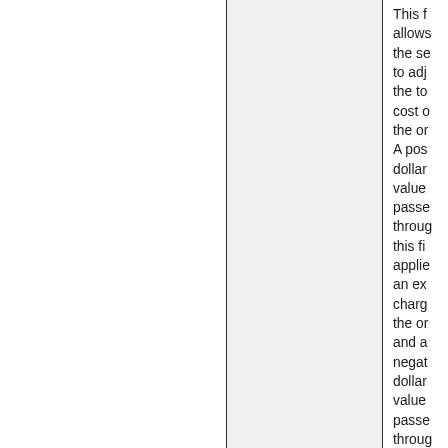This f allows the se to adj the to cost o the or A pos dollar value passe throug this fi applie an ex charg the or and a negat dollar value passe throug